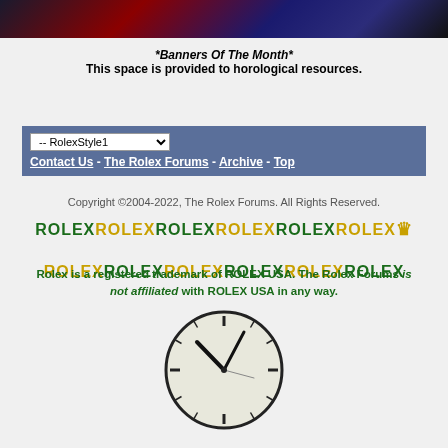[Figure (photo): Top banner image showing close-up of a Rolex watch with red, blue, and black coloring]
*Banners Of The Month*
This space is provided to horological resources.
-- RolexStyle1
Contact Us - The Rolex Forums - Archive - Top
Copyright ©2004-2022, The Rolex Forums. All Rights Reserved.
[Figure (logo): ROLEX text logo repeated in alternating green and gold colors with crown symbol]
Rolex is a registered trademark of ROLEX USA. The Rolex Forums is not affiliated with ROLEX USA in any way.
[Figure (illustration): Analog clock face showing approximately 10:10 time]